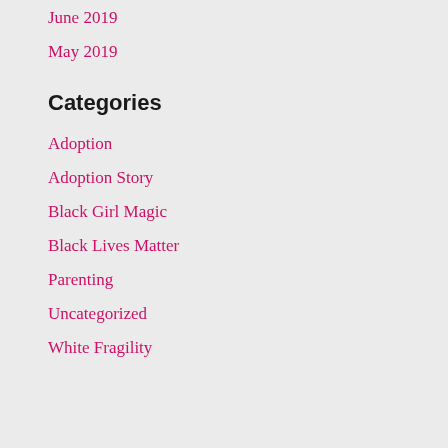June 2019
May 2019
Categories
Adoption
Adoption Story
Black Girl Magic
Black Lives Matter
Parenting
Uncategorized
White Fragility